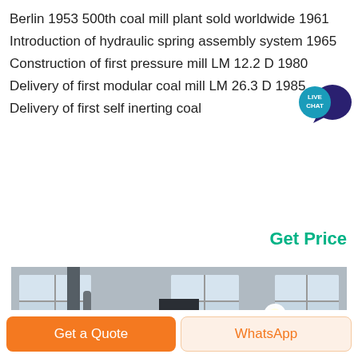Berlin 1953 500th coal mill plant sold worldwide 1961 Introduction of hydraulic spring assembly system 1965 Construction of first pressure mill LM 12.2 D 1980 Delivery of first modular coal mill LM 26.3 D 1985 Delivery of first self inerting coal
[Figure (infographic): Live Chat badge with teal speech bubble icon]
Get Price
[Figure (photo): Interior of an industrial coal mill plant showing large pipes, metal structures, windows letting in light, and heavy machinery]
Get a Quote
WhatsApp